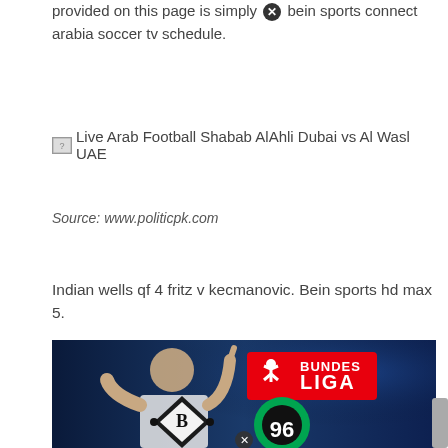provided on this page is simply bein sports connect arabia soccer tv schedule.
[Figure (photo): Broken image placeholder with alt text: Live Arab Football Shabab AlAhli Dubai vs Al Wasl UAE]
Source: www.politicpk.com
Indian wells qf 4 fritz v kecmanovic. Bein sports hd max 5.
[Figure (photo): A footballer celebrating with the Bundesliga logo and club badge icons for Borussia Monchengladbach (B) and Hannover 96, with a close button overlay at the bottom.]